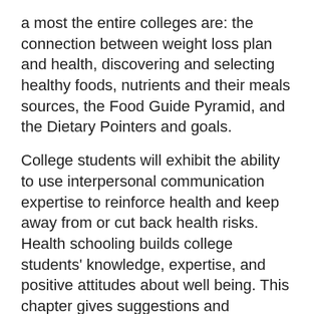a most the entire colleges are: the connection between weight loss plan and health, discovering and selecting healthy foods, nutrients and their meals sources, the Food Guide Pyramid, and the Dietary Pointers and goals.
College students will exhibit the ability to use interpersonal communication expertise to reinforce health and keep away from or cut back health risks. Health schooling builds college students' knowledge, expertise, and positive attitudes about well being. This chapter gives suggestions and guidelines for sustaining a high quality health education program.
Article IV: Duty within the Delivery of Health Education Well being Educators promote integrity within the supply of health training. Their mission was to enhance development of the ...